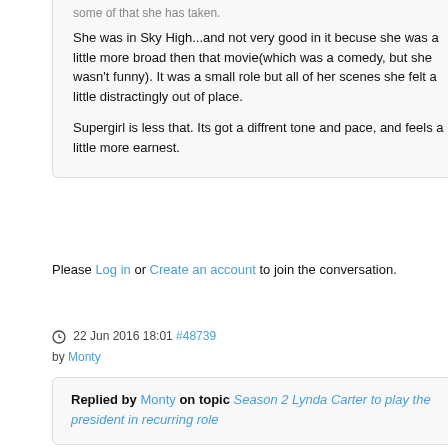She was in Sky High...and not very good in it becuse she was a little more broad then that movie(which was a comedy, but she wasn't funny). It was a small role but all of her scenes she felt a little distractingly out of place.
Supergirl is less that. Its got a diffrent tone and pace, and feels a little more earnest.
Please Log in or Create an account to join the conversation.
22 Jun 2016 18:01 #48739 by Monty
Replied by Monty on topic Season 2 Lynda Carter to play the president in recurring role